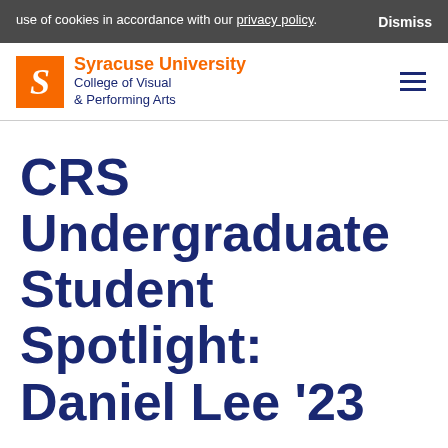use of cookies in accordance with our privacy policy. Dismiss
[Figure (logo): Syracuse University College of Visual & Performing Arts logo with orange S lettermark and navigation hamburger menu]
CRS Undergraduate Student Spotlight: Daniel Lee '23